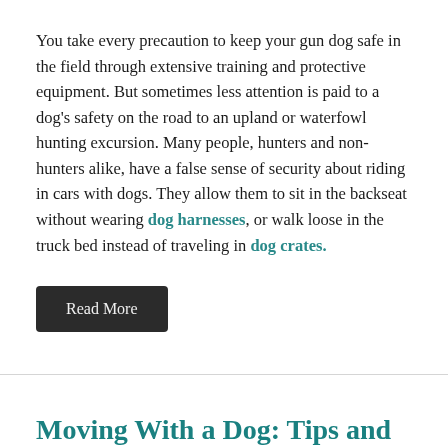You take every precaution to keep your gun dog safe in the field through extensive training and protective equipment. But sometimes less attention is paid to a dog's safety on the road to an upland or waterfowl hunting excursion. Many people, hunters and non-hunters alike, have a false sense of security about riding in cars with dogs. They allow them to sit in the backseat without wearing dog harnesses, or walk loose in the truck bed instead of traveling in dog crates.
Read More
Moving With a Dog: Tips and Tricks
June 21, 2018